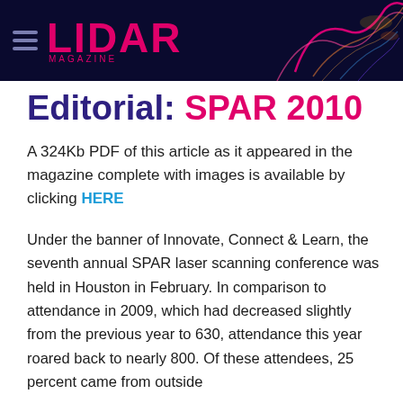LIDAR MAGAZINE
Editorial: SPAR 2010
A 324Kb PDF of this article as it appeared in the magazine complete with images is available by clicking HERE
Under the banner of Innovate, Connect & Learn, the seventh annual SPAR laser scanning conference was held in Houston in February. In comparison to attendance in 2009, which had decreased slightly from the previous year to 630, attendance this year roared back to nearly 800. Of these attendees, 25 percent came from outside